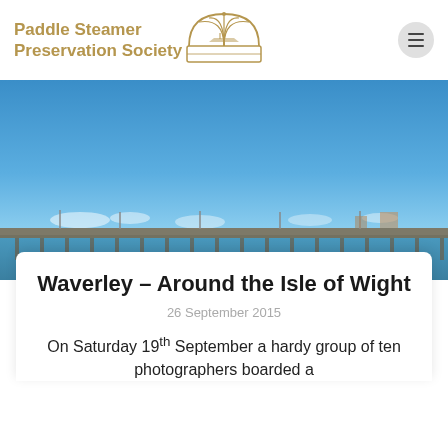Paddle Steamer Preservation Society
[Figure (photo): Outdoor photograph of a coastal pier stretching across calm blue water under a clear blue sky with light clouds near the horizon.]
Waverley – Around the Isle of Wight
26 September 2015
On Saturday 19th September a hardy group of ten photographers boarded a